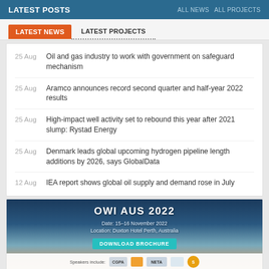LATEST POSTS   ALL NEWS ALL PROJECTS
LATEST NEWS   LATEST PROJECTS
25 Aug  Oil and gas industry to work with government on safeguard mechanism
25 Aug  Aramco announces record second quarter and half-year 2022 results
25 Aug  High-impact well activity set to rebound this year after 2021 slump: Rystad Energy
25 Aug  Denmark leads global upcoming hydrogen pipeline length additions by 2026, says GlobalData
12 Aug  IEA report shows global oil supply and demand rose in July
[Figure (infographic): OWI AUS 2022 conference advertisement. Date: 15-16 November 2022. Location: Duxton Hotel Perth, Australia. Button: DOWNLOAD BROCHURE. Speakers include: CGPA, NETA, and Shell logos shown at bottom.]